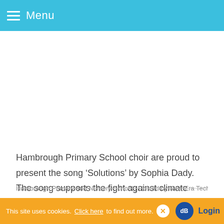Menu
Hambrough Primary School choir are proud to present the song ‘Solutions’ by Sophia Dady. The song supports the fight against climate change.
Hambrough Primary and Nursery School | Hosted by New Era Technology
This site uses cookies. Click here to find out more.